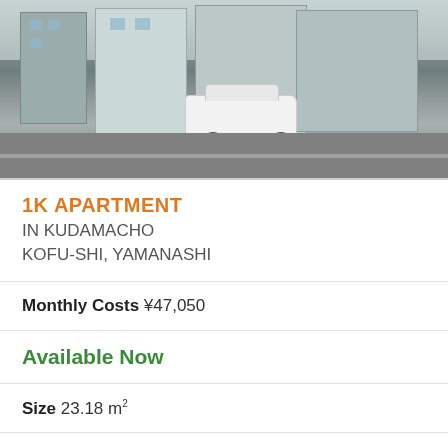[Figure (photo): Exterior photo of an apartment building with a white minivan parked in front, on a street in Japan.]
1K APARTMENT
IN KUDAMACHO
KOFU-SHI, YAMANASHI
Monthly Costs ¥47,050
Available Now
Size 23.18 m²
Deposit ¥0
Key Money ¥0
Floor 2 / 2F